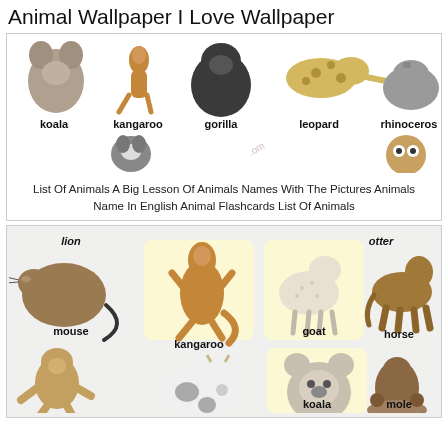Animal Wallpaper I Love Wallpaper
[Figure (illustration): Row of animal photos: koala, kangaroo, gorilla, leopard, rhinoceros, with partial second row showing raccoon and owl]
List Of Animals A Big Lesson Of Animals Names With The Pictures Animals Name In English Animal Flashcards List Of Animals
[Figure (illustration): Cartoon animal flashcard grid showing: lion, mouse, kangaroo, goat, otter, horse, monkey, cow, koala, mole]